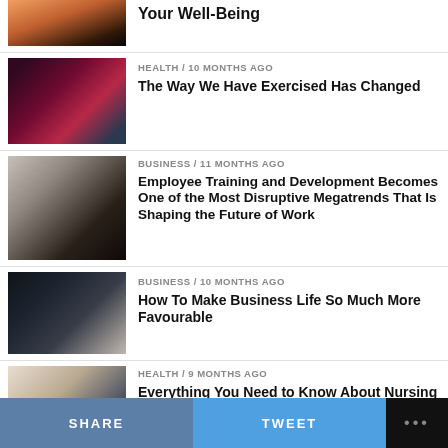[Figure (screenshot): Partial top article thumbnail - woman silhouette at sunrise/water]
Your Well-Being
[Figure (photo): Woman exercising, fitness/gym setting]
HEALTH / 10 months ago
The Way We Have Exercised Has Changed
[Figure (photo): Business meeting room with people around a table]
BUSINESS / 11 months ago
Employee Training and Development Becomes One of the Most Disruptive Megatrends That Is Shaping the Future of Work
[Figure (photo): City skyline panorama viewed through large windows, black and white]
BUSINESS / 10 months ago
How To Make Business Life So Much More Favourable
[Figure (photo): Person at desk, healthcare/nursing consultation setting]
HEALTH / 9 months ago
Everything You Need to Know About Nursing and Becoming a Nurse
SHARE   TWEET   ...